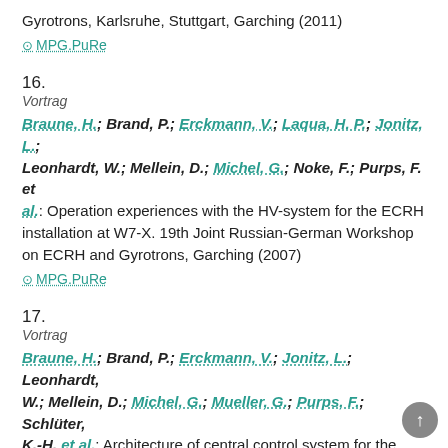Gyrotrons, Karlsruhe, Stuttgart, Garching (2011)
⊙ MPG.PuRe
16.
Vortrag
Braune, H.; Brand, P.; Erckmann, V.; Laqua, H. P.; Jonitz, L.; Leonhardt, W.; Mellein, D.; Michel, G.; Noke, F.; Purps, F. et al.: Operation experiences with the HV-system for the ECRH installation at W7-X. 19th Joint Russian-German Workshop on ECRH and Gyrotrons, Garching (2007)
⊙ MPG.PuRe
17.
Vortrag
Braune, H.; Brand, P.; Erckmann, V.; Jonitz, L.; Leonhardt, W.; Mellein, D.; Michel, G.; Mueller, G.; Purps, F.; Schlüter, K.-H. et al.: Architecture of central control system for the W7-X ECRH installation (Title continues...)